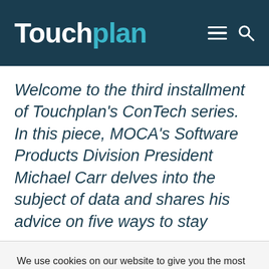Touchplan
Welcome to the third installment of Touchplan's ConTech series. In this piece, MOCA's Software Products Division President Michael Carr delves into the subject of data and shares his advice on five ways to stay
We use cookies on our website to give you the most relevant experience by remembering your preferences and repeat visits. By clicking “Accept”, you consent to the use of ALL the cookies.
Cookie settings  ACCEPT